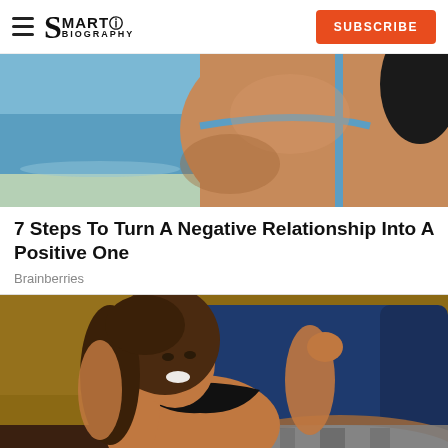SMARTO BIOGRAPHY | SUBSCRIBE
[Figure (photo): Close-up photo of a woman's back wearing a blue bikini strap, with ocean/beach background]
7 Steps To Turn A Negative Relationship Into A Positive One
Brainberries
[Figure (photo): Woman with long brown hair wearing a black bikini top and grey patterned leggings, reclining on a blue chair with golden/brown background, smiling]